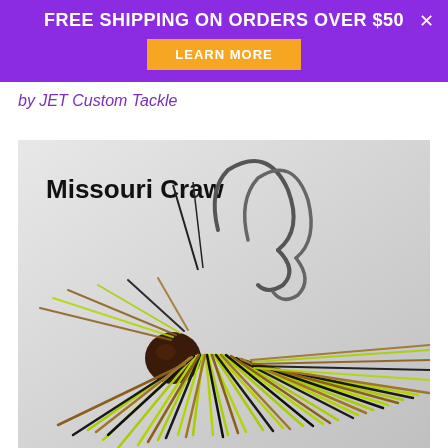FREE SHIPPING ON ORDERS OVER $50
LEARN MORE
by JET Custom Tackle
[Figure (photo): Close-up product photo of a fishing jig lure labeled 'Missouri Craw' with black metal hooks and a colorful skirt made of chartreuse, brown/amber, and black silicone strands, photographed on a white/grey surface.]